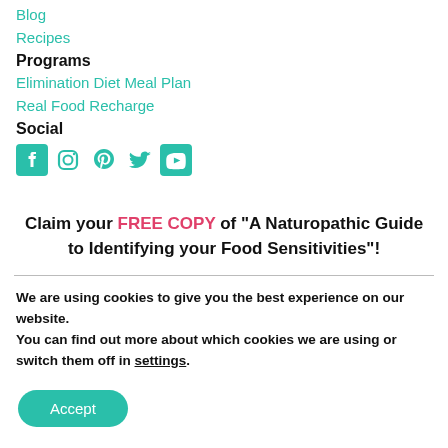Blog
Recipes
Programs
Elimination Diet Meal Plan
Real Food Recharge
Social
[Figure (illustration): Social media icons: Facebook, Instagram, Pinterest, Twitter, YouTube in teal color]
Claim your FREE COPY of "A Naturopathic Guide to Identifying your Food Sensitivities"!
We are using cookies to give you the best experience on our website.
You can find out more about which cookies we are using or switch them off in settings.
Accept